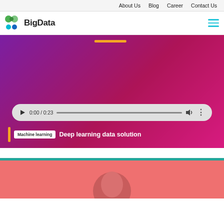About Us  Blog  Career  Contact Us
[Figure (logo): BigData logo with colorful connected nodes icon and hamburger menu icon]
[Figure (screenshot): Hero banner with purple-to-magenta gradient background, orange accent bar at top, video/audio player showing 0:00 / 0:23, Machine learning tag and 'Deep learning data solution' white title text]
[Figure (photo): Partial view of a person's head on a salmon/red background, cropped at bottom of page]